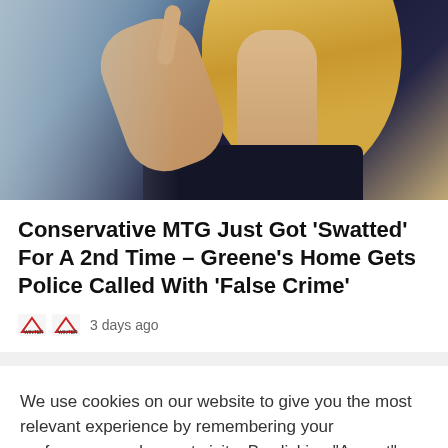[Figure (photo): Photo of a blonde woman in a dark navy sleeveless top pointing with one finger raised, wearing a necklace, with a blurred background]
Conservative MTG Just Got ‘Swatted’ For A 2nd Time – Greene’s Home Gets Police Called With ‘False Crime’
3 days ago
We use cookies on our website to give you the most relevant experience by remembering your preferences and repeat visits. By clicking “Accept”, you consent to the use of ALL the cookies.
Cookie Settings
ACCEPT